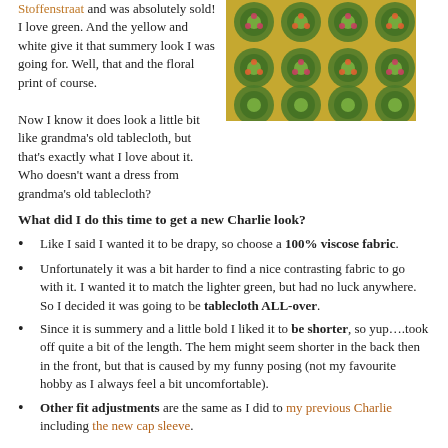Stoffenstraat and was absolutely sold! I love green. And the yellow and white give it that summery look I was going for. Well, that and the floral print of course.
Now I know it does look a little bit like grandma's old tablecloth, but that's exactly what I love about it. Who doesn't want a dress from grandma's old tablecloth?
[Figure (photo): Close-up photograph of a floral printed fabric with green, yellow, red, and white circular medallion pattern on a colorful background]
What did I do this time to get a new Charlie look?
Like I said I wanted it to be drapy, so choose a 100% viscose fabric.
Unfortunately it was a bit harder to find a nice contrasting fabric to go with it. I wanted it to match the lighter green, but had no luck anywhere. So I decided it was going to be tablecloth ALL-over.
Since it is summery and a little bold I liked it to be shorter, so yup….took off quite a bit of the length. The hem might seem shorter in the back then in the front, but that is caused by my funny posing (not my favourite hobby as I always feel a bit uncomfortable).
Other fit adjustments are the same as I did to my previous Charlie including the new cap sleeve.